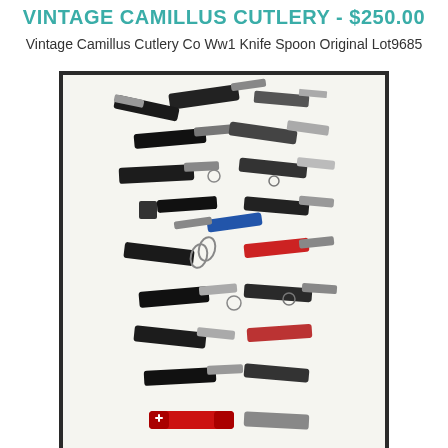VINTAGE CAMILLUS CUTLERY - $250.00
Vintage Camillus Cutlery Co Ww1 Knife Spoon Original Lot9685
[Figure (photo): A collection of approximately 26 vintage pocket knives and multi-tools displayed on a white background with dark border. The knives include various styles with black, silver, red, and blue handles, some open and some closed.]
LOT 26 PCS - $250.00
Lot 26 Pcs Vintage Pocket Knife Kp